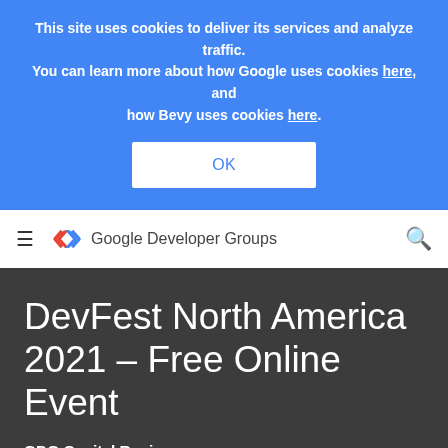This site uses cookies to deliver its services and analyze traffic. You can learn more about how Google uses cookies here, and how Bevy uses cookies here.
OK
Google Developer Groups
DevFest North America 2021 – Free Online Event
GDG Capital Region
Nov 19 - 20, 2021, 1:00 PM (EST)
39 RSVP'ed